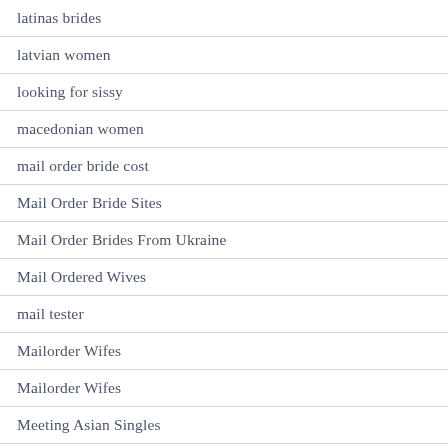latinas brides
latvian women
looking for sissy
macedonian women
mail order bride cost
Mail Order Bride Sites
Mail Order Brides From Ukraine
Mail Ordered Wives
mail tester
Mailorder Wifes
Mailorder Wifes
Meeting Asian Singles